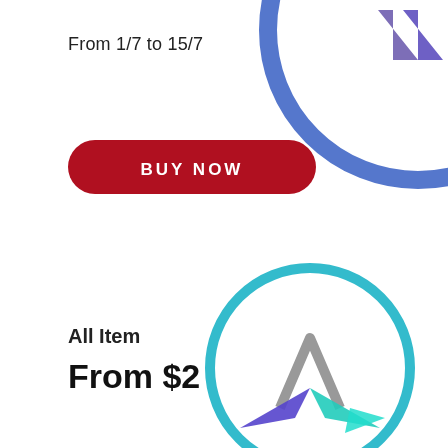From 1/7 to 15/7
[Figure (illustration): Red pill-shaped button with white uppercase text BUY NOW]
[Figure (illustration): Partial blue circle with a purple arrow/chevron shape, top-right corner decoration]
All Item
From $2
[Figure (logo): Circular teal/cyan outlined circle containing a star-arrow logo with grey, blue/purple, and teal colored arrow points]